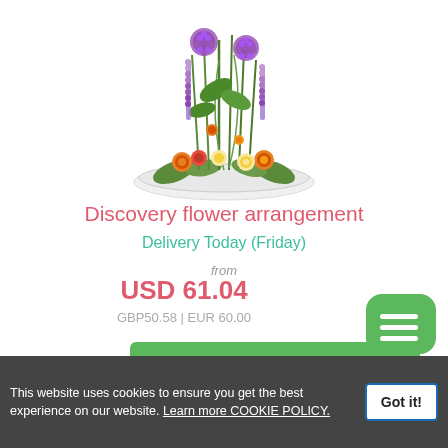[Figure (photo): Flower arrangement in a white bowl with tall stems, purple allium flowers, orange roses, lavender sprigs, and green foliage on a white background.]
Discovery flower arrangement
Delivery Today (Friday)
from
USD 61.04
GBP50.58 | EUR 60.00
DETAILS / BUY NOW
This website uses cookies to ensure you get the best experience on our website. Learn more COOKIE POLICY.
Got it!